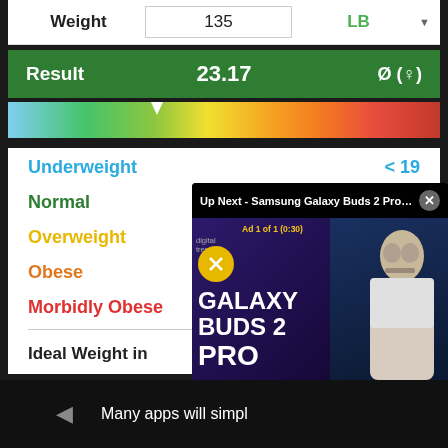| Weight | 135 | LB ▾ |
| --- | --- | --- |
| Result | 23.17 | Ø (♀) |
| --- | --- | --- |
[Figure (infographic): BMI color gradient bar from blue (underweight) to red (obese) with a white triangular marker at approximately 33% position]
Underweight    < 19
Normal    19 - 24
Overweight    24 - 30
Obese    30 - 40
Morbidly Obese
Ideal Weight in
[Figure (screenshot): Up Next - Samsung Galaxy Buds 2 Pro r... video ad overlay with close button, ad 1 of 1 (0:30), showing Galaxy Buds 2 Pro promotional content with presenter]
Many apps will simpl